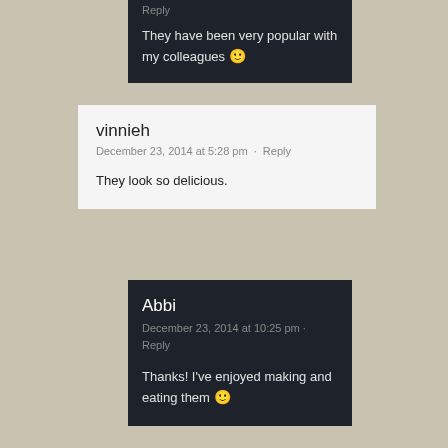Reply
They have been very popular with my colleagues 🙂
vinnieh
December 23, 2014 at 5:28 pm · Reply
They look so delicious.
Abbi
December 23, 2014 at 10:25 pm · Reply
Thanks! I've enjoyed making and eating them 🙂